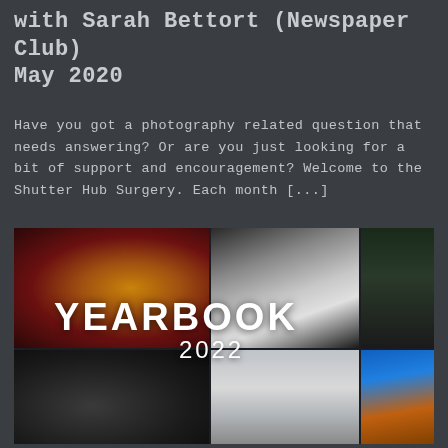with Sarah Bettort (Newspaper Club) May 2020
Have you got a photography related question that needs answering? Or are you just looking for a bit of support and encouragement? Welcome to the Shutter Hub Surgery. Each month [...]
[Figure (photo): Yearbook 2022 collage cover image with multiple blurry photographs arranged in a grid: top-left shows warm orange/yellow toned portrait, top-center shows a person bending over in white clothing, top-right shows a dark green scene, bottom-left shows dark equipment/microphone scene, bottom-center shows a street scene, bottom-right shows a blue and orange landscape. Text 'YEARBOOK' and '2022' overlaid in white.]